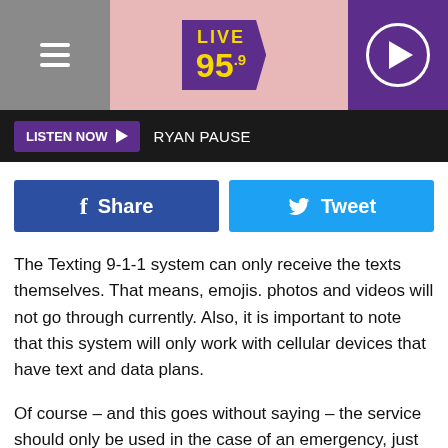[Figure (screenshot): Radio station Live 95.9 website header banner with hamburger menu on left, Live 95.9 logo in center, and purple play button on right]
LISTEN NOW ▶  RYAN PAUSE
[Figure (infographic): Share and Tweet buttons row]
The Texting 9-1-1 system can only receive the texts themselves. That means, emojis. photos and videos will not go through currently. Also, it is important to note that this system will only work with cellular devices that have text and data plans.
Of course – and this goes without saying – the service should only be used in the case of an emergency, just like the voice call system.
The Pittsfield Police department added a photo graphic of